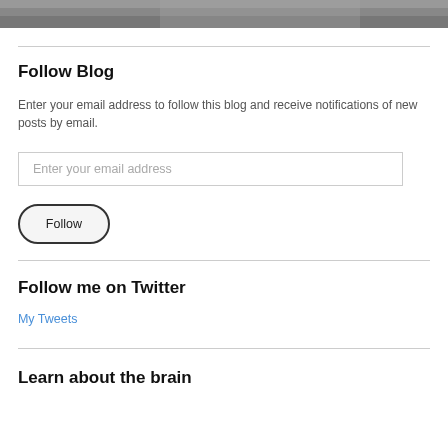[Figure (photo): Partial photo strip at top of page, showing a dark grey/brown textured surface]
Follow Blog
Enter your email address to follow this blog and receive notifications of new posts by email.
Enter your email address
Follow
Follow me on Twitter
My Tweets
Learn about the brain